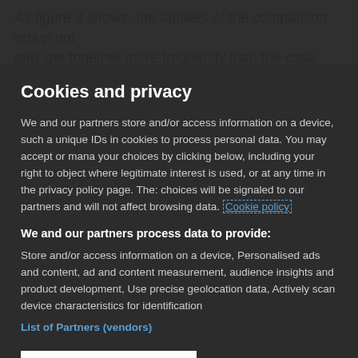As figure 2 shows, the families of the comparison group not only get together more frequently than the case group for
Cookies and privacy
We and our partners store and/or access information on a device, such as unique IDs in cookies to process personal data. You may accept or manage your choices by clicking below, including your right to object where legitimate interest is used, or at any time in the privacy policy page. These choices will be signaled to our partners and will not affect browsing data. Cookie policy
We and our partners process data to provide:
Store and/or access information on a device, Personalised ads and content, ad and content measurement, audience insights and product development, Use precise geolocation data, Actively scan device characteristics for identification
List of Partners (vendors)
I Accept